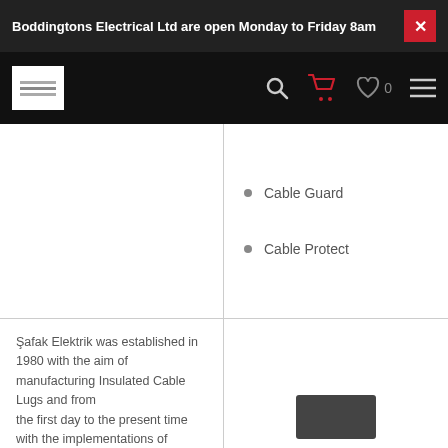Boddingtons Electrical Ltd are open Monday to Friday 8am
Cable Guard
Cable Protect
Şafak Elektrik was established in 1980 with the aim of manufacturing Insulated Cable Lugs and from the first day to the present time with the implementations of high-quality product